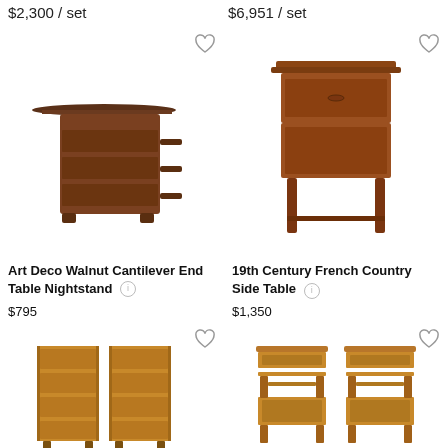$2,300 / set
$6,951 / set
[Figure (photo): Art Deco walnut cantilever end table nightstand with dark wood finish and horizontal bar handles]
[Figure (photo): 19th Century French Country side table in warm brown wood with drawer and tapered legs]
Art Deco Walnut Cantilever End Table Nightstand
$795
19th Century French Country Side Table
$1,350
[Figure (photo): Pair of light oak open-shelf nightstands/bookcases with three shelves each]
[Figure (photo): Pair of antique wooden side tables with drawer, lower shelf, and cabinet panel]